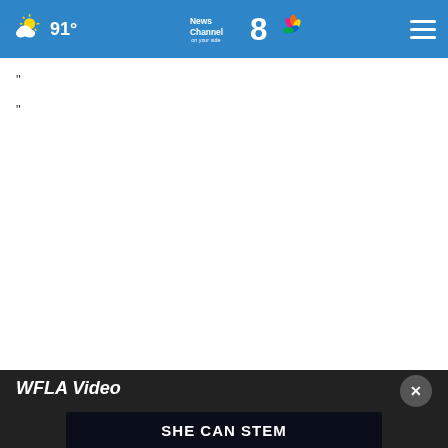News Channel 8 on your side — 91°
"
"
[Figure (screenshot): WFLA Video section with close button (×) and SHE CAN STEM advertisement banner]